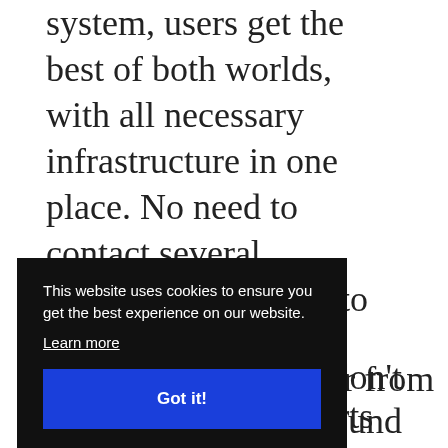system, users get the best of both worlds, with all necessary infrastructure in one place. No need to contact several companies, no need to pay various fees!
We focused our efforts on offering volumetric video WebAR with a single click because our partners and clients
[Figure (other): Cookie consent banner overlay with dark background. Text reads: 'This website uses cookies to ensure you get the best experience on our website.' with a 'Learn more' link and a blue 'Got it!' button.]
don't
round
ebAR,
and all of them suffer from budget and